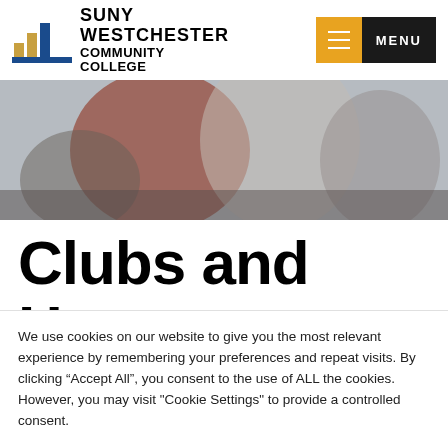SUNY WESTCHESTER COMMUNITY COLLEGE — MENU
[Figure (photo): Students sitting at computers, working; one in a red sweater is visible in the foreground.]
Clubs and Honor
We use cookies on our website to give you the most relevant experience by remembering your preferences and repeat visits. By clicking “Accept All”, you consent to the use of ALL the cookies. However, you may visit "Cookie Settings" to provide a controlled consent.